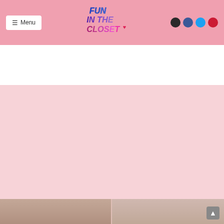Fun In The Closet - website header with menu, logo, and social icons
[Figure (logo): Fun In The Closet logo in colorful hand-lettered style text on pink background]
[Figure (photo): Two people lying on a bed, photographed from above, on a pink background]